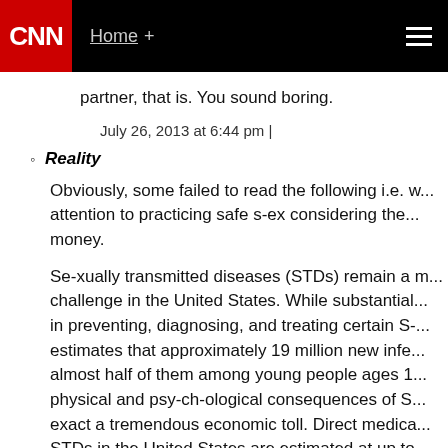CNN | Home +
partner, that is. You sound boring.
July 26, 2013 at 6:44 pm |
Reality
Obviously, some failed to read the following i.e. w... attention to practicing safe s-ex considering the... money.
Se-xually transmitted diseases (STDs) remain a m... challenge in the United States. While substantial... in preventing, diagnosing, and treating certain S-... estimates that approximately 19 million new infe... almost half of them among young people ages 1... physical and psy-ch-ological consequences of S... exact a tremendous economic toll. Direct medica... STDs in the United States are estimated at up to... 2006 dollars." See also: http://www.cnn.com/2013/04/26/opinio... health/index.html?hpt-hp_t4